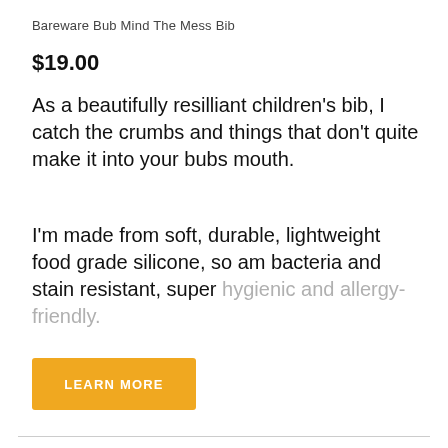Bareware Bub Mind The Mess Bib
$19.00
As a beautifully resilliant children's bib, I catch the crumbs and things that don't quite make it into your bubs mouth.
I'm made from soft, durable, lightweight food grade silicone, so am bacteria and stain resistant, super hygienic and allergy-friendly.
LEARN MORE
[Figure (photo): Two silicone baby spoons, one beige/cream and one pink/rose, photographed from above on a white background]